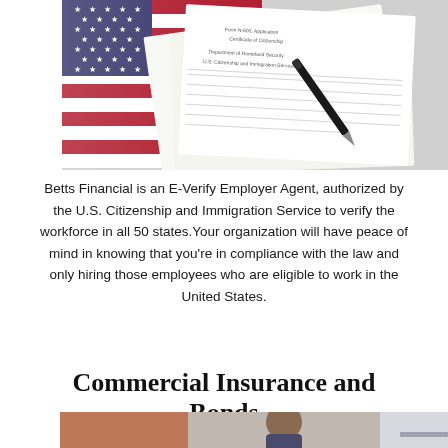[Figure (photo): Photo of US immigration/citizenship forms (Form N-600 Application for Certificate of Citizenship) with a pen and American flag in the background]
Betts Financial is an E-Verify Employer Agent, authorized by the U.S. Citizenship and Immigration Service to verify the workforce in all 50 states.Your organization will have peace of mind in knowing that you're in compliance with the law and only hiring those employees who are eligible to work in the United States.
Commercial Insurance and Bonds
[Figure (photo): Photo of a business person in a suit, partial view, appearing to be in a professional/office setting]